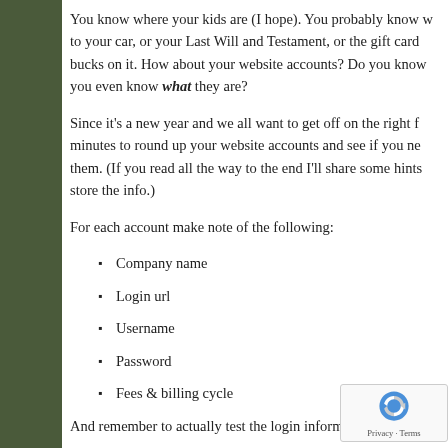You know where your kids are (I hope). You probably know where the title to your car, or your Last Will and Testament, or the gift card with 20 bucks on it. How about your website accounts? Do you know where they are? Do you even know what they are?
Since it's a new year and we all want to get off on the right foot, take a few minutes to round up your website accounts and see if you need to update them. (If you read all the way to the end I'll share some hints on how to store the info.)
For each account make note of the following:
Company name
Login url
Username
Password
Fees & billing cycle
And remember to actually test the login information to make...